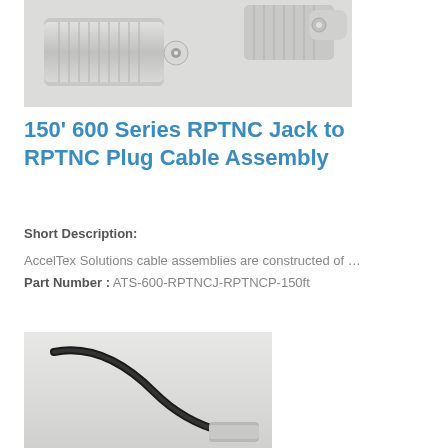[Figure (photo): Close-up photograph of TNC/RPTNC connector assemblies — metallic silver connectors with knurled bodies on a light background]
150' 600 Series RPTNC Jack to RPTNC Plug Cable Assembly
Short Description:
AccelTex Solutions cable assemblies are constructed of …
Part Number : ATS-600-RPTNCJ-RPTNCP-150ft
[Figure (photo): Close-up photograph of a black coaxial cable with a metallic connector end against a light grey background]